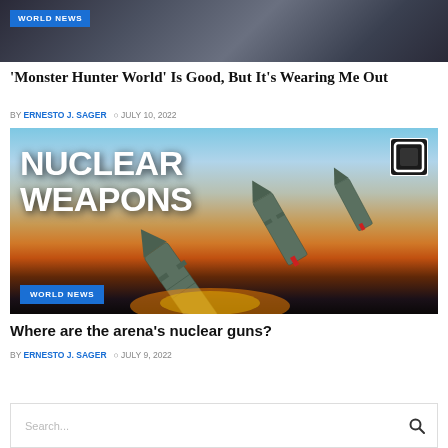[Figure (photo): Top image strip showing dark fantasy game scene with 'WORLD NEWS' badge]
‘Monster Hunter World’ Is Good, But It’s Wearing Me Out
BY ERNESTO J. SAGER  Ø JULY 10, 2022
[Figure (photo): Nuclear weapons image showing missiles flying over explosion with 'NUCLEAR WEAPONS' text overlay and 'WORLD NEWS' badge]
Where are the arena’s nuclear guns?
BY ERNESTO J. SAGER  Ø JULY 9, 2022